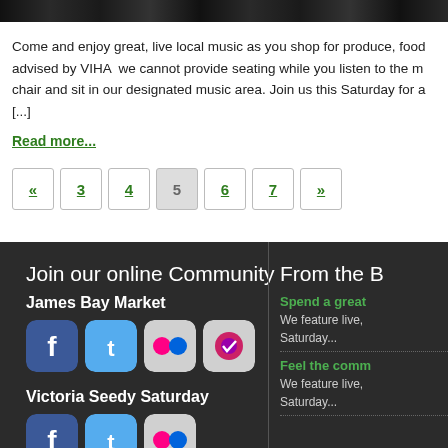[Figure (photo): Cropped banner image showing a market or event scene in dark tones]
Come and enjoy great, live local music as you shop for produce, food advised by VIHA we cannot provide seating while you listen to the m chair and sit in our designated music area. Join us this Saturday for a [...]
Read more...
Pagination: « 3 4 5 6 7 »
Join our online Community
James Bay Market
[Figure (logo): Social media icons: Facebook, Twitter, Flickr, Chime/check app]
Victoria Seedy Saturday
[Figure (logo): Social media icons row for Victoria Seedy Saturday]
From the B
Spend a great
We feature live, Saturday...
Feel the comm
We feature live, Saturday...